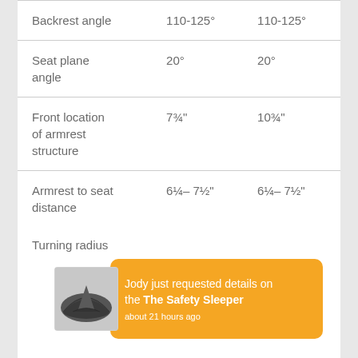|  | Col1 | Col2 |
| --- | --- | --- |
| Backrest angle | 110-125° | 110-125° |
| Seat plane angle | 20° | 20° |
| Front location of armrest structure | 7¾" | 10¾" |
| Armrest to seat distance | 6¼– 7½" | 6¼– 7½" |
[Figure (other): Notification overlay: photo of a grey tent-like Safety Sleeper product on the left, orange notification box on the right reading 'Jody just requested details on the The Safety Sleeper about 21 hours ago']
Turning radius